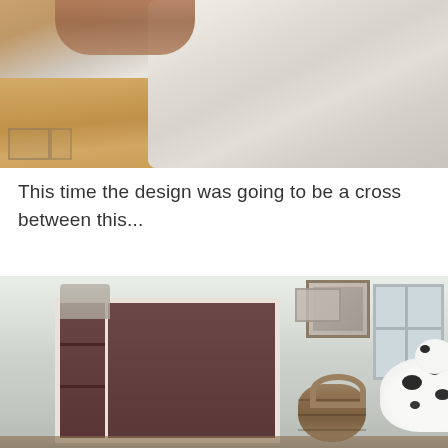[Figure (photo): Close-up photo of a bed being made, showing hands smoothing a textured white/cream bedspread over a mattress, with a wooden floor visible in the lower left corner]
This time the design was going to be a cross between this...
[Figure (photo): Photo of a murphy bed (wall bed) in the open/down position showing a brown cabinet with white trim, a Dalmatian dog sitting in front of it, a woven basket to the right, a window on the far right, and framed pictures on the wall above]